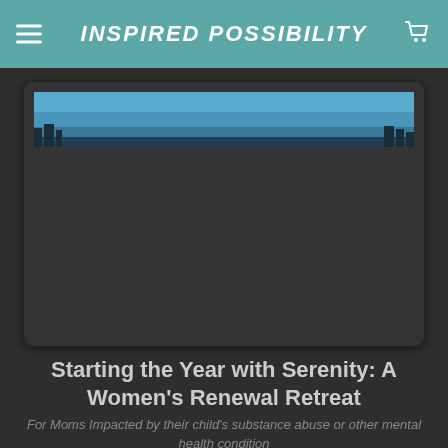INSPIRED POSSIBILITY
[Figure (photo): A landscape photo strip showing a blue sky with trees silhouetted at the bottom, inside a dark rounded card.]
Starting the Year with Serenity: A Women's Renewal Retreat
For Moms Impacted by their child's substance abuse or other mental health condition
January 11-13, 2019
Albany Counseling Center
65 Highland Ave
Rochester, NY